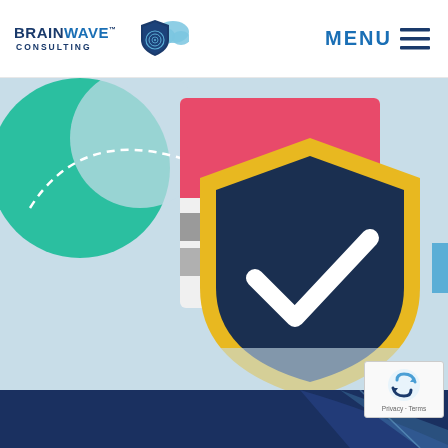[Figure (logo): BrainWave Consulting logo with shield/fingerprint icon and cloud graphic]
MENU ☰
[Figure (illustration): Security illustration showing a dark navy shield with yellow border and white checkmark, overlaid on abstract shapes including a teal leaf/circle and pink/red rectangle on light blue background]
[Figure (photo): Dark navy footer band at bottom with diagonal light swoosh]
[Figure (other): Google reCAPTCHA badge showing 'Privacy - Terms']